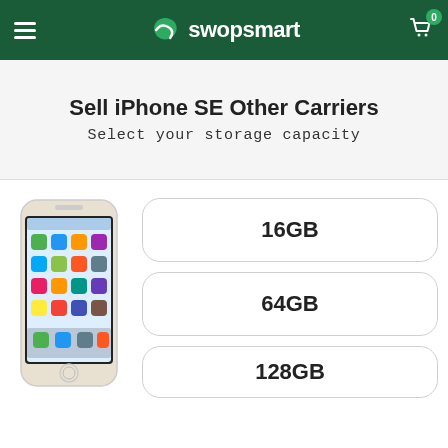swopsmart
Sell iPhone SE Other Carriers
Select your storage capacity
[Figure (photo): iPhone SE gold color product photo]
16GB
64GB
128GB